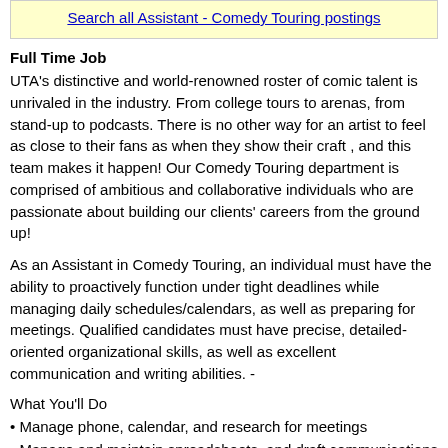Search all Assistant - Comedy Touring postings
Full Time Job
UTA's distinctive and world-renowned roster of comic talent is unrivaled in the industry. From college tours to arenas, from stand-up to podcasts. There is no other way for an artist to feel as close to their fans as when they show their craft , and this team makes it happen! Our Comedy Touring department is comprised of ambitious and collaborative individuals who are passionate about building our clients' careers from the ground up!
As an Assistant in Comedy Touring, an individual must have the ability to proactively function under tight deadlines while managing daily schedules/calendars, as well as preparing for meetings. Qualified candidates must have precise, detailed-oriented organizational skills, as well as excellent communication and writing abilities. -
What You'll Do
• Manage phone, calendar, and research for meetings
• Manage and maintain spreadsheets, and draft communications
• Strong task management skills, used to proactively build processes that benefit the business
• Liaise with internal staff at all levels and external clients & partners
• Expense reports - prepare monthly reports for review & submit to accounting